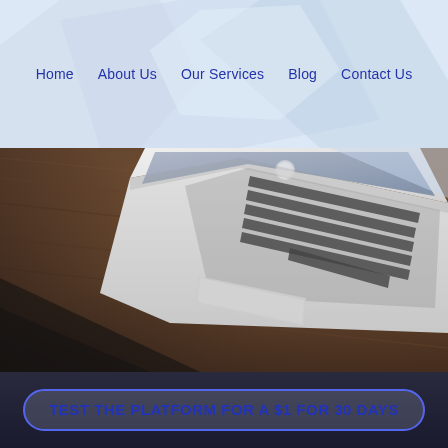Home   About Us   Our Services   Blog   Contact Us
[Figure (photo): Laptop computer resting on a wooden desk, viewed from above at an angle, showing keyboard and trackpad, in a muted, cool-toned photograph.]
TEST THE PLATFORM FOR A $1 FOR 30 DAYS